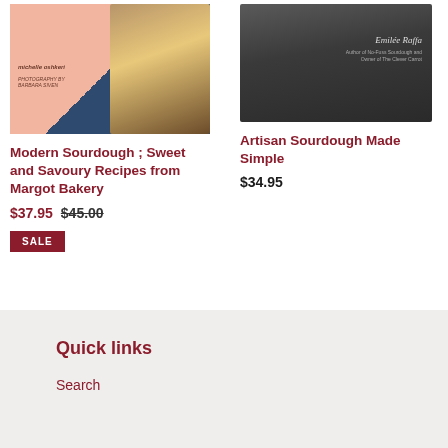[Figure (photo): Book cover of Modern Sourdough; Sweet and Savoury Recipes from Margot Bakery with bread and pastry imagery on pink and navy background]
Modern Sourdough ; Sweet and Savoury Recipes from Margot Bakery
$37.95  $45.00
SALE
[Figure (photo): Book cover of Artisan Sourdough Made Simple with wrapped goods on dark background, author Emilie Raffa]
Artisan Sourdough Made Simple
$34.95
Quick links
Search